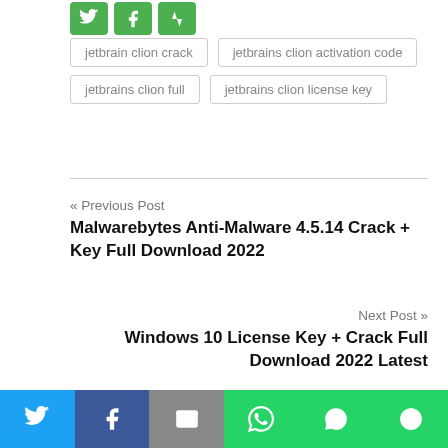jetbrain clion crack
jetbrains clion activation code
jetbrains clion full
jetbrains clion license key
« Previous Post
Malwarebytes Anti-Malware 4.5.14 Crack + Key Full Download 2022
Next Post »
Windows 10 License Key + Crack Full Download 2022 Latest
Leave a Reply
Twitter | Facebook | Mail | WhatsApp | SMS | More